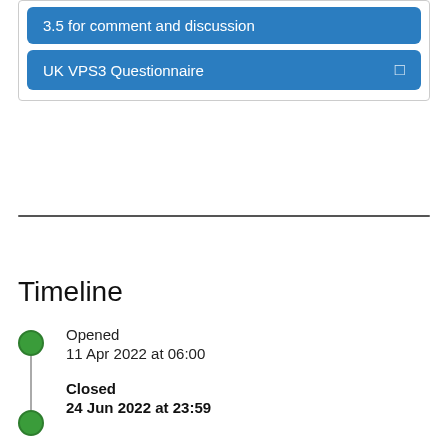3.5 for comment and discussion
UK VPS3 Questionnaire
Timeline
Opened
11 Apr 2022 at 06:00
Closed
24 Jun 2022 at 23:59